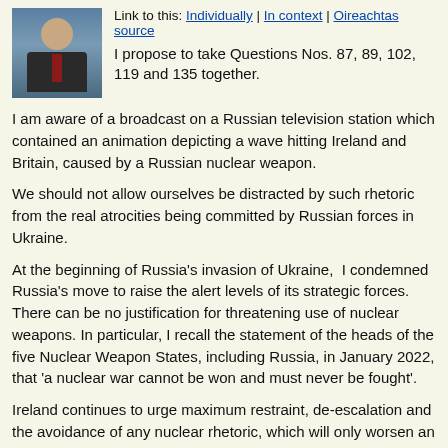[Figure (photo): Headshot photo of a man in a suit and tie against a blue background]
Link to this: Individually | In context | Oireachtas source
I propose to take Questions Nos. 87, 89, 102, 119 and 135 together.
I am aware of a broadcast on a Russian television station which contained an animation depicting a wave hitting Ireland and Britain, caused by a Russian nuclear weapon.
We should not allow ourselves be distracted by such rhetoric from the real atrocities being committed by Russian forces in Ukraine.
At the beginning of Russia's invasion of Ukraine,  I condemned Russia's move to raise the alert levels of its strategic forces.  There can be no justification for threatening use of nuclear weapons. In particular, I recall the statement of the heads of the five Nuclear Weapon States, including Russia, in January 2022, that 'a nuclear war cannot be won and must never be fought'.
Ireland continues to urge maximum restraint, de-escalation and the avoidance of any nuclear rhetoric, which will only worsen an already dangerous and unpredictable situation.
The judgement that the government has made is that despite our strong disagreement with the actions taken by Russia, it is better to keep diplomatic channels open, for a number of reasons. The first, fundamental, reason is that open lines of communication facilitate diplomacy - which is more important than ever in a conflict situation.